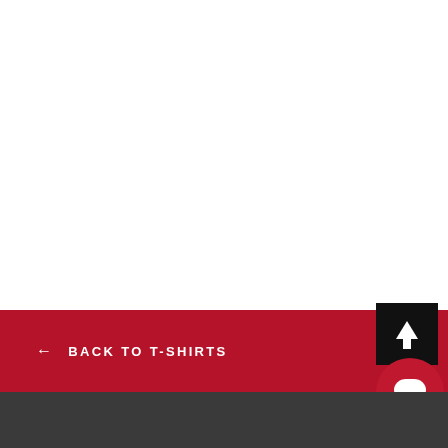[Figure (screenshot): White blank content area at top of page]
← BACK TO T-SHIRTS
[Figure (infographic): Black square button with white upward arrow icon]
[Figure (infographic): Red circular chat/message button icon]